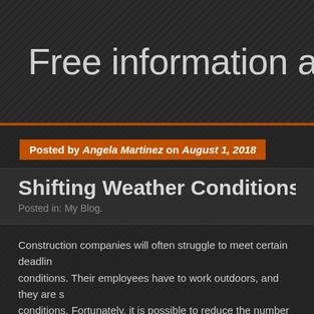Free information availa
Posted by Angela Martinez on August 1, 2018
Shifting Weather Conditions and Cr
Posted in: My Blog.
Construction companies will often struggle to meet certain deadlines conditions. Their employees have to work outdoors, and they are s conditions. Fortunately, it is possible to reduce the number of dela conditions.
Choosing machines that can function in a lot of different kinds of w people who rent crawler cranes will be able to take advantage of m